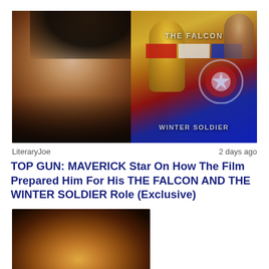[Figure (photo): Hero image showing a young man's face on the left side and a Marvel 'The Falcon and The Winter Soldier' promotional graphic on the right side with red, gold, and blue colors and a Captain America shield star motif]
LiteraryJoe    2 days ago
TOP GUN: MAVERICK Star On How The Film Prepared Him For His THE FALCON AND THE WINTER SOLDIER Role (Exclusive)
[Figure (photo): Thumbnail image with warm amber/brown tones showing a blurred figure in golden light]